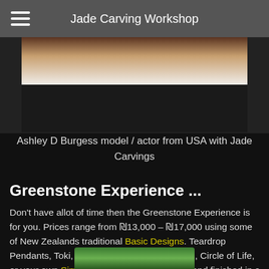Jade Carving Workshop
[Figure (photo): Partial view of Ashley D Burgess, model/actor from USA, wearing a black and white outfit, showing jade carvings]
Ashley D Burgess model / actor from USA with Jade Carvings
Greenstone Experience ...
Don't have allot of time then the Greenstone Experience is for you. Prices range from ₪13,000 – ₪17,000 using some of New Zealands traditional Basic Designs. Teardrop Pendants, Toki, Koru, Fish Hook, Whales Tail, Circle of Life, or your own Simple Designs can be created and finished in a few hours. The finished NZ Jade Carving will be yours to wear for a lifetime.
[Figure (photo): Partial bottom image showing green jade carvings]